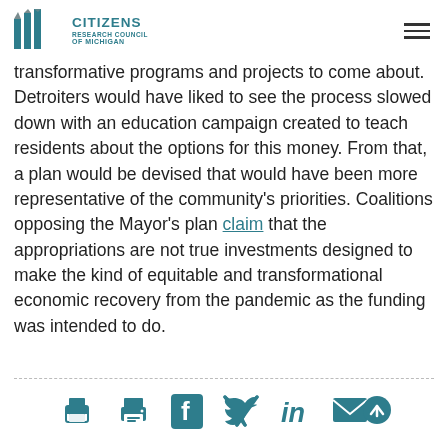Citizens Research Council of Michigan
transformative programs and projects to come about. Detroiters would have liked to see the process slowed down with an education campaign created to teach residents about the options for this money. From that, a plan would be devised that would have been more representative of the community's priorities. Coalitions opposing the Mayor's plan claim that the appropriations are not true investments designed to make the kind of equitable and transformational economic recovery from the pandemic as the funding was intended to do.